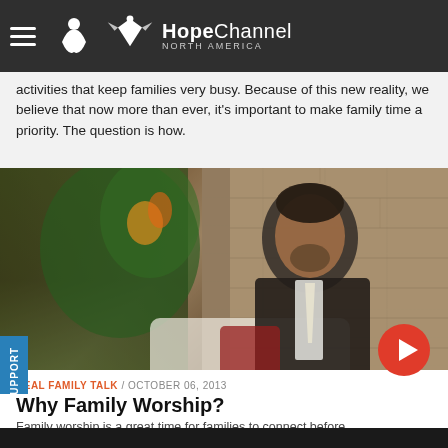HopeChannel NORTH AMERICA
activities that keep families very busy. Because of this new reality, we believe that now more than ever, it's important to make family time a priority. The question is how.
[Figure (photo): A man in a black suit with a gold tie seated in a TV studio setting with a stone wall background and plant, video thumbnail with red play button overlay]
REAL FAMILY TALK / OCTOBER 06, 2013
Why Family Worship?
Family worship is a great time for families to connect before